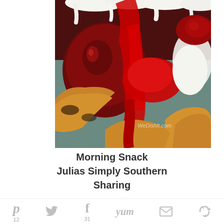[Figure (photo): Close-up food photo showing cherry cheesecake topped biscuits or pastries with dark red cherry pie filling, whipped cream, and golden brown biscuit/bread base. Watermark reads 'WeDishIt.com' in lower right corner.]
Morning Snack
Julias Simply Southern
Sharing
Homemade Sausage Bread Recipe
Pinterest 12  Twitter  Facebook 31  Yum  Email  Share